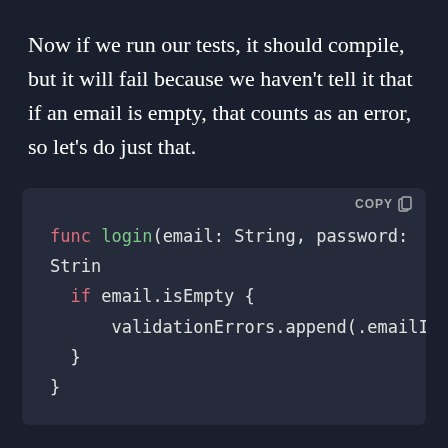Now if we run our tests, it should compile, but it will fail because we haven't tell it that if an email is empty, that counts as an error, so let's do just that.
[Figure (screenshot): Code block showing Swift function: func login(email: String, password: Strin... with if email.isEmpty { validationErrors.append(.emailIsEmpty) } }]
Congratulations! Now we should be having our